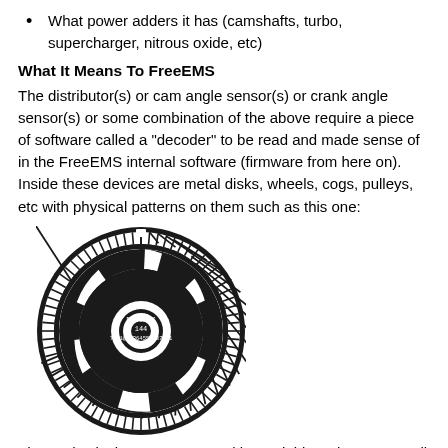What power adders it has (camshafts, turbo, supercharger, nitrous oxide, etc)
What It Means To FreeEMS
The distributor(s) or cam angle sensor(s) or crank angle sensor(s) or some combination of the above require a piece of software called a "decoder" to be read and made sense of in the FreeEMS internal software (firmware from here on). Inside these devices are metal disks, wheels, cogs, pulleys, etc with physical patterns on them such as this one:
[Figure (illustration): A circular toothed wheel/trigger wheel diagram labeled FreeEMS 144, with text '72+1@27364559437281' and showing a pattern of teeth around the outer edge and cutouts in the inner ring, black on white background.]
These physical patterns get read by Variable Reluctance, Hall or Optical sensors and produce a matching electrical signal that is conditioned by the circuits in a FreeEMS box and then read by the decoder software.